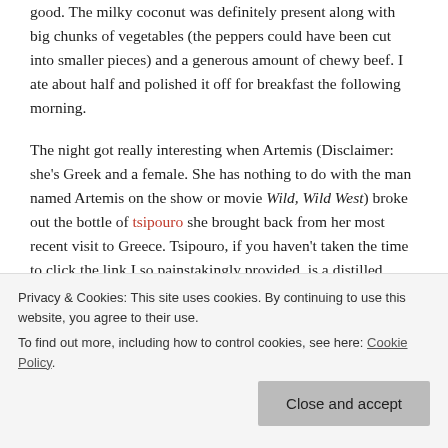good. The milky coconut was definitely present along with big chunks of vegetables (the peppers could have been cut into smaller pieces) and a generous amount of chewy beef. I ate about half and polished it off for breakfast the following morning.
The night got really interesting when Artemis (Disclaimer: she's Greek and a female. She has nothing to do with the man named Artemis on the show or movie Wild, Wild West) broke out the bottle of tsipouro she brought back from her most recent visit to Greece. Tsipouro, if you haven't taken the time to click the link I so painstakingly provided, is a distilled alcohol from Greece that tastes nothing like the more well-known, anise-flavored ouzo. In fact, my dear
Privacy & Cookies: This site uses cookies. By continuing to use this website, you agree to their use.
To find out more, including how to control cookies, see here: Cookie Policy
Close and accept
wondering why it was coming up on painstakingly researched...